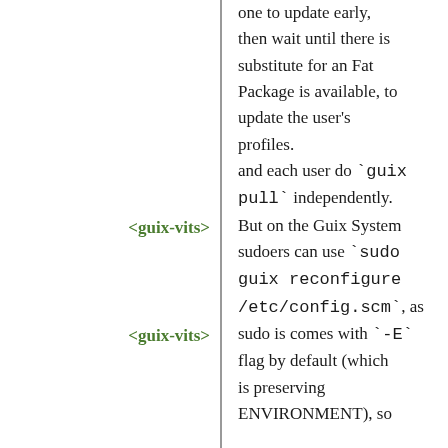one to update early, then wait until there is substitute for an Fat Package is available, to update the user's profiles.
<guix-vits>
and each user do `guix pull` independently. But on the Guix System sudoers can use `sudo guix reconfigure /etc/config.scm`, as sudo is comes with `-E` flag by default (which is preserving ENVIRONMENT), so
<guix-vits>